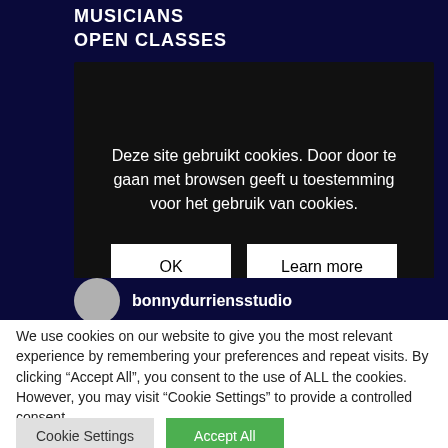MUSICIANS
OPEN CLASSES
[Figure (screenshot): Cookie consent modal overlay on dark navy background website. Modal contains Dutch text: 'Deze site gebruikt cookies. Door door te gaan met browsen geeft u toestemming voor het gebruik van cookies.' with OK and Learn more buttons. Background shows partially visible navigation items: SCHEDULE, SPRINGLEARX, STUDIO, SUBSCRIPTIONS. A profile row shows a grey avatar circle and username 'bonnydurriensstudio'.]
We use cookies on our website to give you the most relevant experience by remembering your preferences and repeat visits. By clicking “Accept All”, you consent to the use of ALL the cookies. However, you may visit “Cookie Settings” to provide a controlled consent.